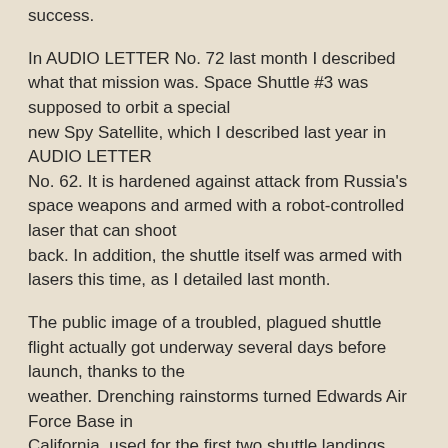success.
In AUDIO LETTER No. 72 last month I described what that mission was. Space Shuttle #3 was supposed to orbit a special new Spy Satellite, which I described last year in AUDIO LETTER No. 62. It is hardened against attack from Russia's space weapons and armed with a robot-controlled laser that can shoot back. In addition, the shuttle itself was armed with lasers this time, as I detailed last month.
The public image of a troubled, plagued shuttle flight actually got underway several days before launch, thanks to the weather. Drenching rainstorms turned Edwards Air Force Base in California, used for the first two shuttle landings, into a soggy mess. The tight military schedule of the Shuttle Program required that the flight take off on schedule anyway, so far